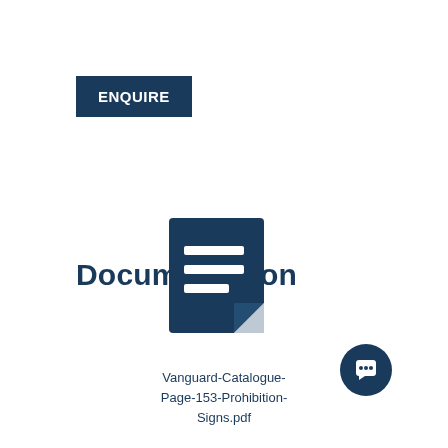ENQUIRE
Documentation
[Figure (illustration): Dark blue document/file icon with horizontal lines representing text on a page, with a folded bottom-right corner]
Vanguard-Catalogue-Page-153-Prohibition-Signs.pdf
[Figure (illustration): Dark blue circular chat bubble button icon in the bottom right corner]